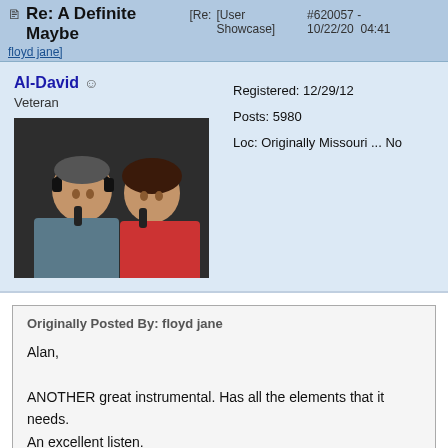Re: A Definite Maybe [Re: [User Showcase] #620057 - 10/22/20 04:41 floyd jane]
Al-David ☺
Veteran
Registered: 12/29/12
Posts: 5980
Loc: Originally Missouri ... No
[Figure (photo): Profile photo of a man and woman sitting together, dark background, woman in red]
Originally Posted By: floyd jane

Alan,

ANOTHER great instrumental. Has all the elements that it needs. An excellent listen.

A good Knopfler sound without sounding TOO much like him. A good balance, I think. The "Dire lead" RT that comes with DIAB always sounds TOO much like Mark (I think) - which makes it hard